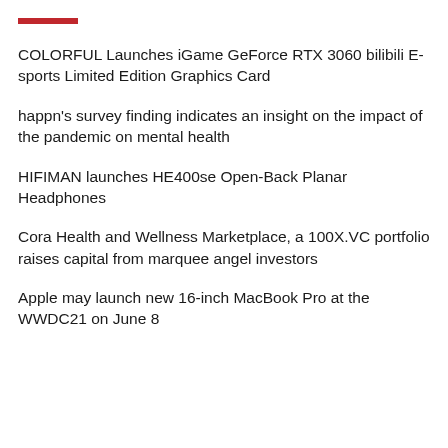COLORFUL Launches iGame GeForce RTX 3060 bilibili E-sports Limited Edition Graphics Card
happn's survey finding indicates an insight on the impact of the pandemic on mental health
HIFIMAN launches HE400se Open-Back Planar Headphones
Cora Health and Wellness Marketplace, a 100X.VC portfolio raises capital from marquee angel investors
Apple may launch new 16-inch MacBook Pro at the WWDC21 on June 8